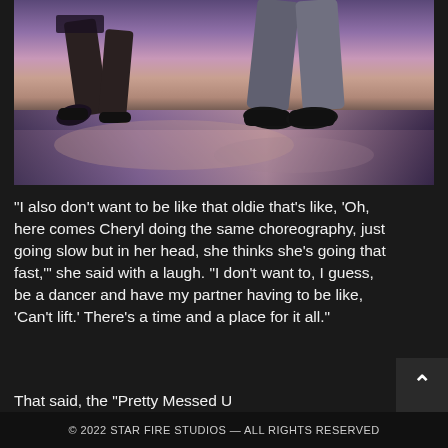[Figure (photo): Close-up photo of dancers' legs and feet on a stage with purple and pink lighting. One dancer wearing black heeled shoes with a fringed costume, another in black dress shoes and grey trousers.]
“I also don’t want to be like that oldie that’s like, ‘Oh, here comes Cheryl doing the same choreography, just going slow but in her head, she thinks she’s going that fast,’” she said with a laugh. “I don’t want to, I guess, be a dancer and have my partner having to be like, ‘Can’t lift.’ There’s a time and a place for it all.”
That said, the “Pretty Messed U cohost isn’t quite ready to leave
© 2022 STAR FIRE STUDIOS — ALL RIGHTS RESERVED